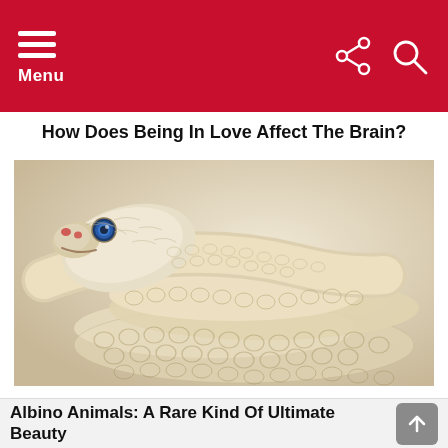Menu
How Does Being In Love Affect The Brain?
[Figure (photo): Close-up photo of a white/albino snake with blue eyes and pinkish-red nostrils, coiled with its head resting on its own body, showing detailed scaly texture against a pale background]
Albino Animals: A Rare Kind Of Ultimate Beauty